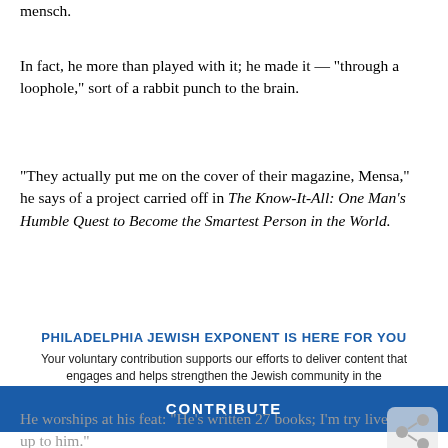mensch.
In fact, he more than played with it; he made it — "through a loophole," sort of a rabbit punch to the brain.
"They actually put me on the cover of their magazine, Mensa," he says of a project carried off in The Know-It-All: One Man's Humble Quest to Become the Smartest Person in the World.
Oooh, that smarts; but Jacobs has a way to go to outdo his da... record for the most foo... review article (4,824).
PHILADELPHIA JEWISH EXPONENT IS HERE FOR YOU
Your voluntary contribution supports our efforts to deliver content that engages and helps strengthen the Jewish community in the Philadelphia area.
CONTRIBUTE
He worships at his feat: "He's written 27 books; I'm try live up to him."